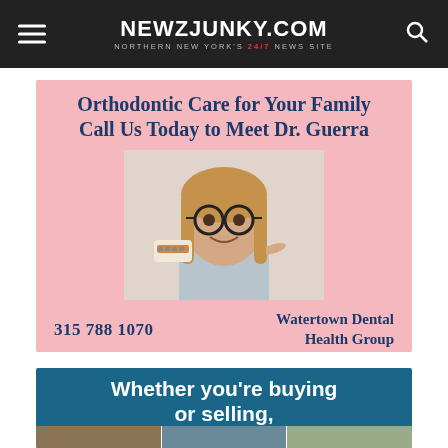NEWZJUNKY.COM — NORTHERN NEW YORK'S 24/7 NEWS SITE
[Figure (photo): Advertisement for Watertown Dental Health Group. Pink background with headline 'Orthodontic Care for Your Family Call Us Today to Meet Dr. Guerra', photo of smiling teenage girl with glasses holding dental braces model, phone number 315 788 1070, and Watertown Dental Health Group name.]
[Figure (infographic): Advertisement with teal/dark blue background reading 'Whether you're buying or selling,' with bottom strip showing street/building photographs.]